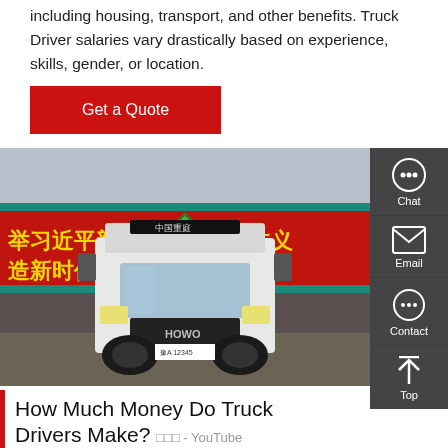including housing, transport, and other benefits. Truck Driver salaries vary drastically based on experience, skills, gender, or location.
Get a Quote
[Figure (photo): Front view of a white HOWO heavy-duty truck parked in front of a red banner with Chinese text reading political slogans. The truck has green triangle warning sign on roof.]
Chat
Email
Contact
Top
How Much Money Do Truck Drivers Make? □□□ - YouTube